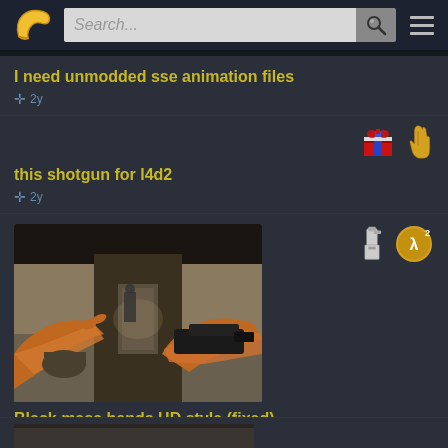[Figure (screenshot): Website header with banana logo, search bar, search button, and hamburger menu]
I need unmodded sse animation files
+ 2y
this shotgun for l4d2
+ 2y
[Figure (screenshot): First-person view of a player holding a shotgun in a dark corridor, Black mesa hands HD style (fixed)]
Black mesa hands HD style (fixed)
+ 2y